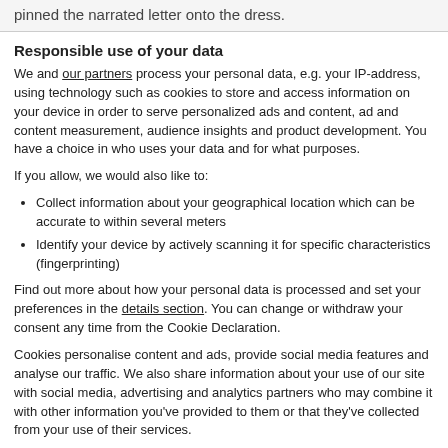pinned the narrated letter onto the dress.
Responsible use of your data
We and our partners process your personal data, e.g. your IP-address, using technology such as cookies to store and access information on your device in order to serve personalized ads and content, ad and content measurement, audience insights and product development. You have a choice in who uses your data and for what purposes.
If you allow, we would also like to:
Collect information about your geographical location which can be accurate to within several meters
Identify your device by actively scanning it for specific characteristics (fingerprinting)
Find out more about how your personal data is processed and set your preferences in the details section. You can change or withdraw your consent any time from the Cookie Declaration.
Cookies personalise content and ads, provide social media features and analyse our traffic. We also share information about your use of our site with social media, advertising and analytics partners who may combine it with other information you've provided to them or that they've collected from your use of their services.
Allow selection | Allow all cookies
Necessary | Preferences | Statistics | Marketing | Show details